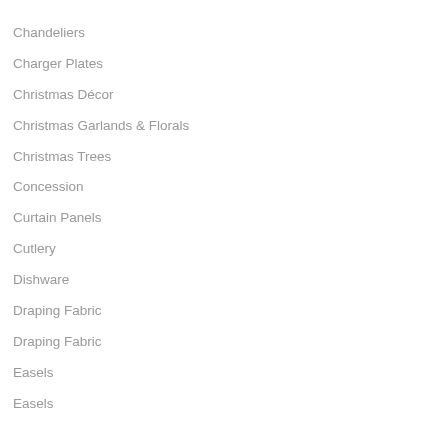Chandeliers
Charger Plates
Christmas Décor
Christmas Garlands & Florals
Christmas Trees
Concession
Curtain Panels
Cutlery
Dishware
Draping Fabric
Draping Fabric
Easels
Easels